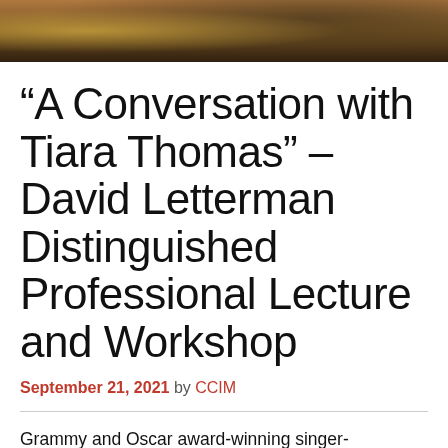[Figure (photo): Photograph banner showing musical instruments and equipment in warm amber/brown tones]
“A Conversation with Tiara Thomas” – David Letterman Distinguished Professional Lecture and Workshop
September 21, 2021 by CCIM
Grammy and Oscar award-winning singer-songwriter